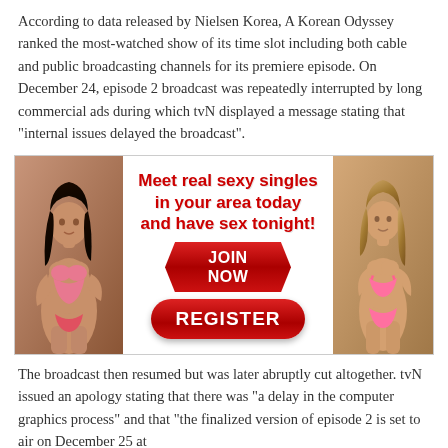According to data released by Nielsen Korea, A Korean Odyssey ranked the most-watched show of its time slot including both cable and public broadcasting channels for its premiere episode. On December 24, episode 2 broadcast was repeatedly interrupted by long commercial ads during which tvN displayed a message stating that "internal issues delayed the broadcast".
[Figure (infographic): An adult dating advertisement banner featuring two women in swimwear on the left and right sides, with red bold text in the center reading 'Meet real sexy singles in your area today and have sex tonight!' along with a red JOIN NOW button and a red REGISTER button.]
The broadcast then resumed but was later abruptly cut altogether. tvN issued an apology stating that there was "a delay in the computer graphics process" and that "the finalized version of episode 2 is set to air on December 25 at